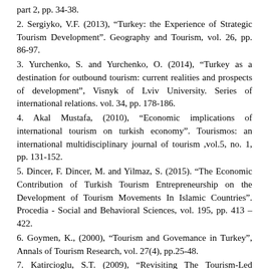part 2, pp. 34-38.
2. Sergiyko, V.F. (2013), “Turkey: the Experience of Strategic Tourism Development”. Geography and Tourism, vol. 26, pp. 86-97.
3. Yurchenko, S. and Yurchenko, O. (2014), “Turkey as a destination for outbound tourism: current realities and prospects of development”, Visnyk of Lviv University. Series of international relations. vol. 34, pp. 178-186.
4. Akal Mustafa, (2010), “Economic implications of international tourism on turkish economy”. Tourismos: an international multidisciplinary journal of tourism ,vol.5, no. 1, pp. 131-152.
5. Dincer, F. Dincer, M. and Yilmaz, S. (2015). “The Economic Contribution of Turkish Tourism Entrepreneurship on the Development of Tourism Movements In Islamic Countries”. Procedia - Social and Behavioral Sciences, vol. 195, pp. 413 – 422.
6. Goymen, K., (2000), “Tourism and Governance in Turkey”, Annals of Tourism Research, vol. 27(4), pp.25-48.
7. Katircioglu, S.T. (2009), “Revisiting The Tourism-Led Growth Hypothesis For Turkey Using The Bound Test And Johansen Approach For Cointegration”, Tourism Management, vol. 30(1), pp.17-20.